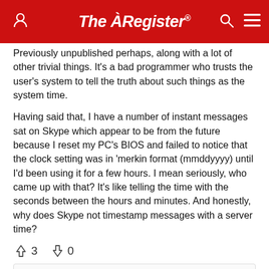The Register
Previously unpublished perhaps, along with a lot of other trivial things. It's a bad programmer who trusts the user's system to tell the truth about such things as the system time.
Having said that, I have a number of instant messages sat on Skype which appear to be from the future because I reset my PC's BIOS and failed to notice that the clock setting was in 'merkin format (mmddyyyy) until I'd been using it for a few hours. I mean seriously, who came up with that? It's like telling the time with the seconds between the hours and minutes. And honestly, why does Skype not timestamp messages with a server time?
↑3  ↓0
Monday 8th August 2011 12:40 GMT
Anonymous Coward
Report abuse